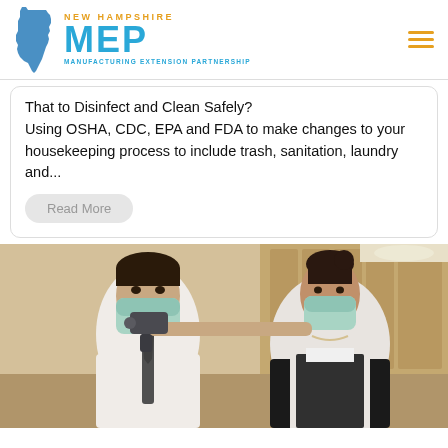NEW HAMPSHIRE MEP MANUFACTURING EXTENSION PARTNERSHIP
That to Disinfect and Clean Safely? Using OSHA, CDC, EPA and FDA to make changes to your housekeeping process to include trash, sanitation, laundry and...
Read More
[Figure (photo): Two people wearing surgical face masks; a woman on the right holds a non-contact infrared thermometer to the forehead of a man on the left, in what appears to be an office or hotel lobby setting.]